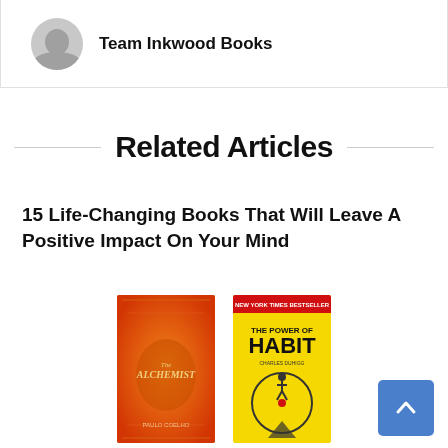[Figure (illustration): Author avatar placeholder circle with grey silhouette]
Team Inkwood Books
Related Articles
15 Life-Changing Books That Will Leave A Positive Impact On Your Mind
[Figure (photo): Book covers of The Alchemist and The Power of Habit shown side by side]